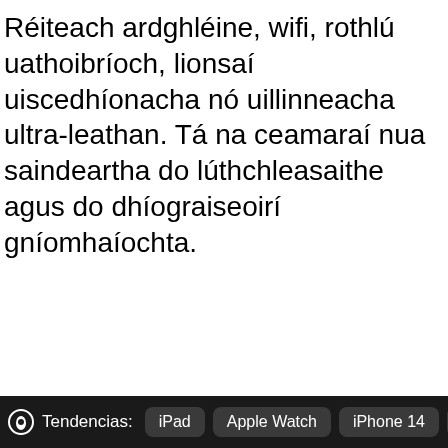Réiteach ardghléine, wifi, rothlú uathoibríoch, lionsaí uiscedhíonacha nó uillinneacha ultra-leathan. Tá na ceamaraí nua saindeartha do lúthchleasaithe agus do dhíograiseoirí gníomhaíochta.
Tendencias: iPad  Apple Watch  iPhone 14  iC…